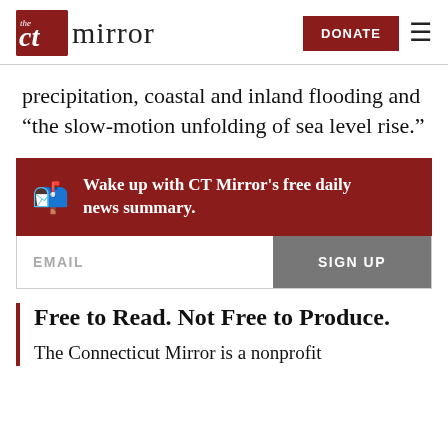the CT mirror | DONATE
precipitation, coastal and inland flooding and "the slow-motion unfolding of sea level rise."
Wake up with CT Mirror's free daily news summary.
EMAIL   SIGN UP
Free to Read. Not Free to Produce.
The Connecticut Mirror is a nonprofit